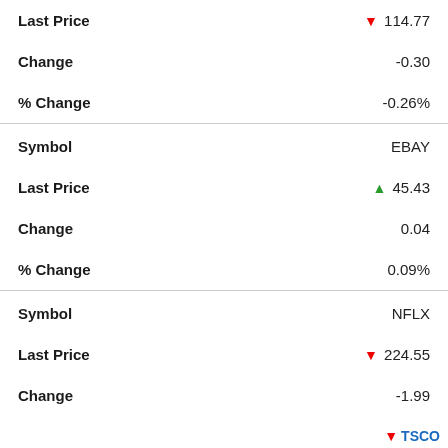| Field | Value |
| --- | --- |
| Last Price | ▼ 114.77 |
| Change | -0.30 |
| % Change | -0.26% |
| Symbol | EBAY |
| Last Price | ▲ 45.43 |
| Change | 0.04 |
| % Change | 0.09% |
| Symbol | NFLX |
| Last Price | ▼ 224.55 |
| Change | -1.99 |